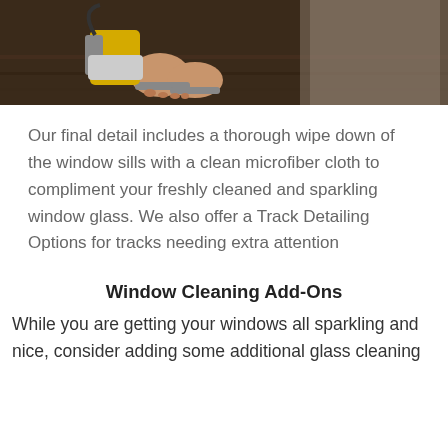[Figure (photo): A person's feet wearing sandals standing on a hardwood floor near a window with yellow cleaning equipment visible]
Our final detail includes a thorough wipe down of the window sills with a clean microfiber cloth to compliment your freshly cleaned and sparkling window glass. We also offer a Track Detailing Options for tracks needing extra attention
Window Cleaning Add-Ons
While you are getting your windows all sparkling and nice, consider adding some additional glass cleaning